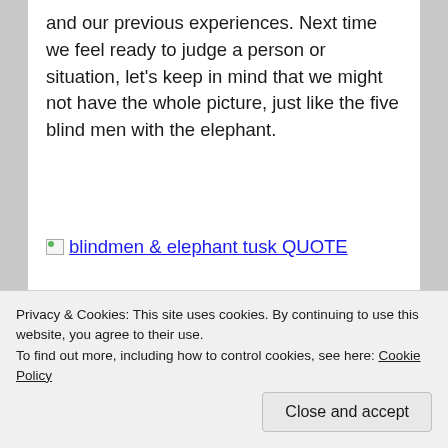and our previous experiences. Next time we feel ready to judge a person or situation, let's keep in mind that we might not have the whole picture, just like the five blind men with the elephant.
[Figure (illustration): Broken image placeholder with link text 'blindmen & elephant tusk QUOTE']
Privacy & Cookies: This site uses cookies. By continuing to use this website, you agree to their use.
To find out more, including how to control cookies, see here: Cookie Policy